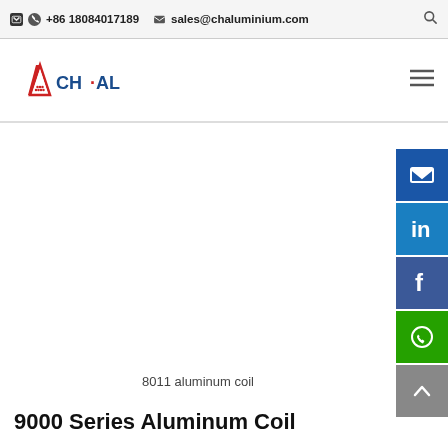+86 18084017189  sales@chaluminium.com
[Figure (logo): ACHAL aluminium company logo — red triangle A with CH·AL text in blue]
8011 aluminum coil
9000 Series Aluminum Coil